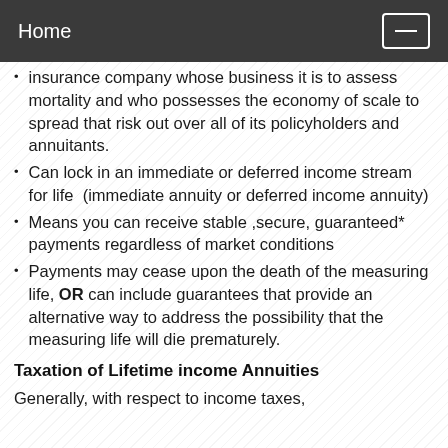Home
insurance company whose business it is to assess mortality and who possesses the economy of scale to spread that risk out over all of its policyholders and annuitants.
Can lock in an immediate or deferred income stream for life (immediate annuity or deferred income annuity)
Means you can receive stable ,secure, guaranteed* payments regardless of market conditions
Payments may cease upon the death of the measuring life, OR can include guarantees that provide an alternative way to address the possibility that the measuring life will die prematurely.
Taxation of Lifetime income Annuities
Generally, with respect to income taxes,